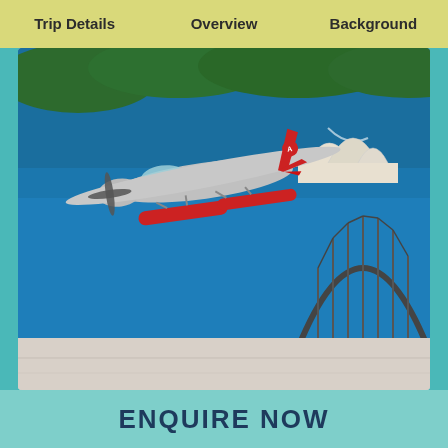Trip Details | Overview | Background
[Figure (photo): Aerial view of a seaplane flying over Sydney Harbour with the Sydney Opera House in the background and Sydney Harbour Bridge in the lower right corner. The seaplane has red floats and red tail, silver body.]
Sydney Sky, Sea & Seafood
VIEW TOUR
[Figure (photo): Partial view of a second photo strip at bottom of card, appears to show a light-colored surface.]
ENQUIRE NOW